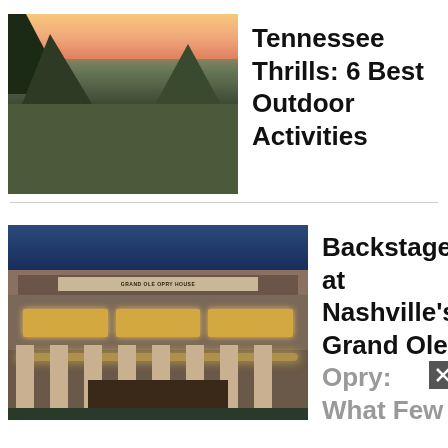[Figure (photo): Aerial view of a misty river valley at sunset, with green mountains on either side and clouds/fog filling the valley below]
Tennessee Thrills: 6 Best Outdoor Activities
[Figure (photo): Exterior night/dusk photo of the Grand Ole Opry House in Nashville, a large building with columns and warm interior lighting]
Backstage at Nashville's Grand Ole Opry: What Few